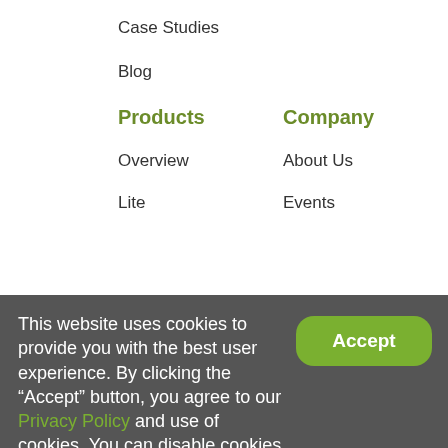Case Studies
Blog
Products
Company
Overview
About Us
Lite
Events
Pro
Contact Us
Careers
Connect
Press
Digital Ecosystem
Support Terms
Privacy Policy
This website uses cookies to provide you with the best user experience. By clicking the “Accept” button, you agree to our Privacy Policy and use of cookies. You can disable cookies through your browser’s privacy settings.